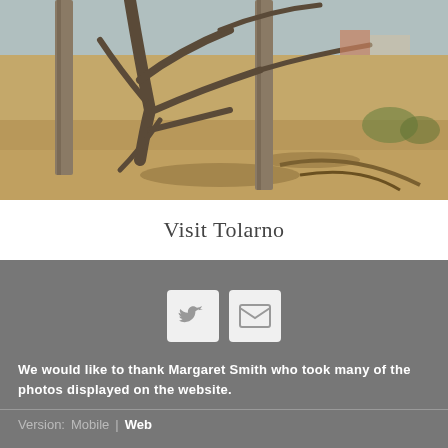[Figure (photo): Outdoor scene showing a dry, arid landscape with wooden posts/poles, bare twisted tree branches, sandy/dusty ground, and some structures visible in the background under a pale sky.]
Visit Tolarno
[Figure (infographic): Two icon buttons on a dark grey background: a Twitter bird icon and an email/envelope icon, each in a light grey rounded square button.]
We would like to thank Margaret Smith who took many of the photos displayed on the website.
Version: Mobile | Web